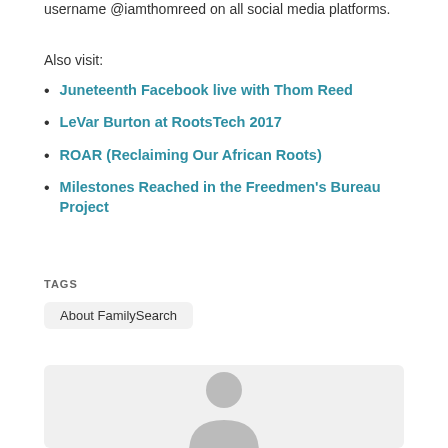username @iamthomreed on all social media platforms.
Also visit:
Juneteenth Facebook live with Thom Reed
LeVar Burton at RootsTech 2017
ROAR (Reclaiming Our African Roots)
Milestones Reached in the Freedmen's Bureau Project
TAGS
About FamilySearch
[Figure (illustration): Generic user avatar placeholder image showing a person silhouette in grey on light grey background]